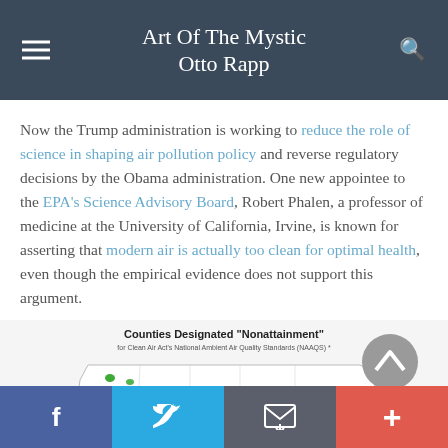Art Of The Mystic Otto Rapp
Now the Trump administration is working to reduce the role of science in shaping air pollution policy and reverse regulatory decisions by the Obama administration. One new appointee to the EPA's Science Advisory Board, Robert Phalen, a professor of medicine at the University of California, Irvine, is known for asserting that modern air is actually too clean for optimal health, even though the empirical evidence does not support this argument.
[Figure (map): US map showing Counties Designated 'Nonattainment' for Clean Air Act's National Ambient Air Quality Standards (NAAQS), with colored regions indicating nonattainment areas across the United States.]
f  Twitter  Email  +